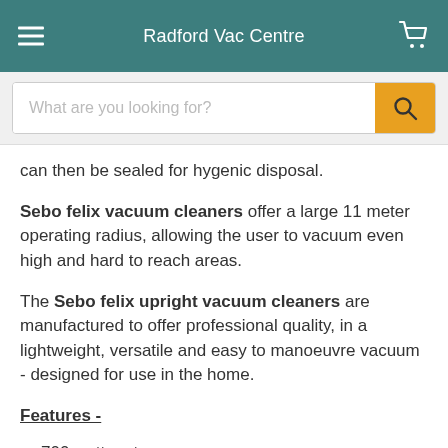Radford Vac Centre
can then be sealed for hygenic disposal.
Sebo felix vacuum cleaners offer a large 11 meter operating radius, allowing the user to vacuum even high and hard to reach areas.
The Sebo felix upright vacuum cleaners are manufactured to offer professional quality, in a lightweight, versatile and easy to manoeuvre vacuum - designed for use in the home.
Features -
700 watt motor
175 watt brush motor